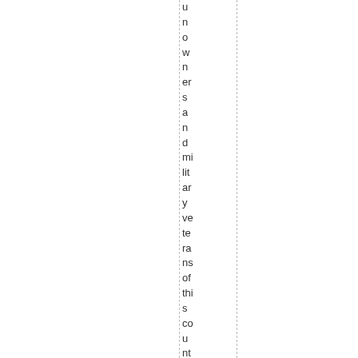u n o w n e r s a n d m i l i t a r y v e t e r a n s o f t h i s c o u n t r y c o m p r i s e